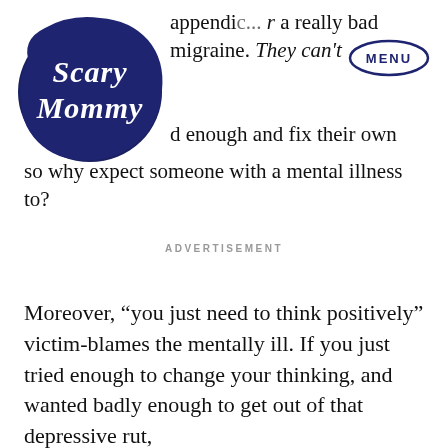[Figure (logo): Scary Mommy logo — navy blue circular badge with cursive text 'Scary Mommy' in white]
appendic... r a really bad migraine. They can't ...d enough and fix their own... ...so why expect someone with a mental illness to?
ADVERTISEMENT
Moreover, “you just need to think positively” victim-blames the mentally ill. If you just tried enough to change your thinking, and wanted badly enough to get out of that depressive rut,